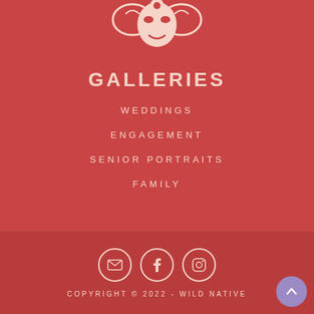[Figure (logo): Wild Native logo — decorative mask/floral white icon on red background]
GALLERIES
WEDDINGS
ENGAGEMENT
SENIOR PORTRAITS
FAMILY
[Figure (infographic): Social media icons: email, Facebook, Instagram — white circles on dark red background]
COPYRIGHT © 2022 - WILD NATIVE